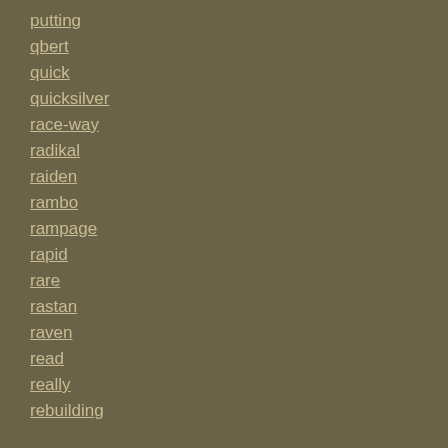putting
qbert
quick
quicksilver
race-way
radikal
raiden
rambo
rampage
rapid
rare
rastan
raven
read
really
rebuilding